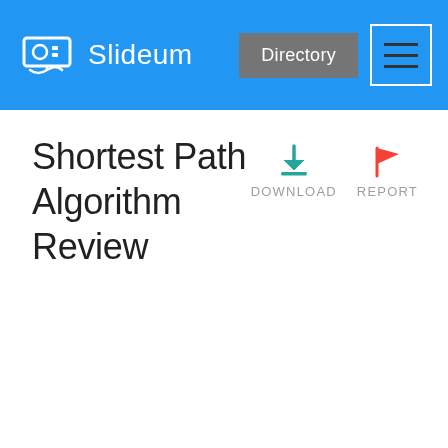Slideum
Shortest Path Algorithm Review
DOWNLOAD
REPORT